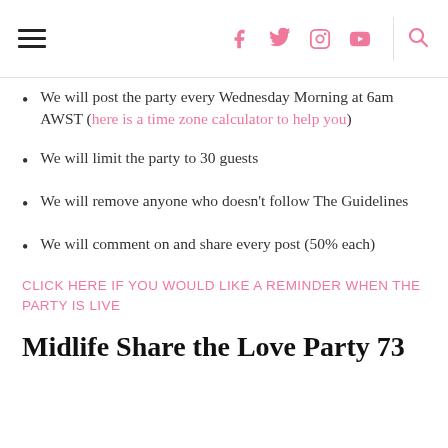≡ [hamburger menu] [facebook] [twitter] [instagram] [youtube] | [search]
We will post the party every Wednesday Morning at 6am AWST (here is a time zone calculator to help you)
We will limit the party to 30 guests
We will remove anyone who doesn't follow The Guidelines
We will comment on and share every post (50% each)
CLICK HERE IF YOU WOULD LIKE A REMINDER WHEN THE PARTY IS LIVE
Midlife Share the Love Party 73